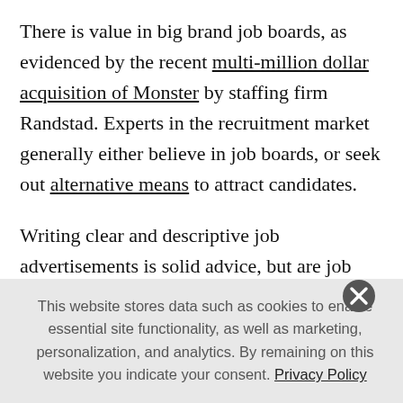There is value in big brand job boards, as evidenced by the recent multi-million dollar acquisition of Monster by staffing firm Randstad. Experts in the recruitment market generally either believe in job boards, or seek out alternative means to attract candidates.
Writing clear and descriptive job advertisements is solid advice, but are job seekers actually reading through them? Today's new hires demand not just well-written postings, but also ones that work with their devices. The features of the major job boards also vary widely, making
This website stores data such as cookies to enable essential site functionality, as well as marketing, personalization, and analytics. By remaining on this website you indicate your consent. Privacy Policy